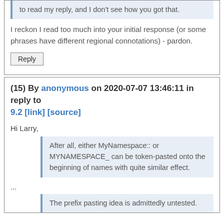to read my reply, and I don't see how you got that.
I reckon I read too much into your initial response (or some phrases have different regional connotations) - pardon.
Reply
(15) By anonymous on 2020-07-07 13:46:11 in reply to 9.2 [link] [source]
Hi Larry,
After all, either MyNamespace:: or MYNAMESPACE_ can be token-pasted onto the beginning of names with quite similar effect.
...
The prefix pasting idea is admittedly untested.